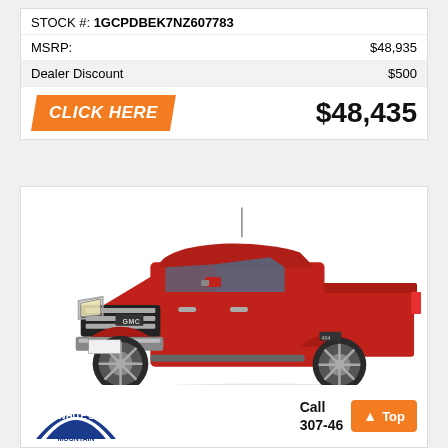STOCK #: 1GCPDBEK7NZ607783
|  |  |
| --- | --- |
| MSRP: | $48,935 |
| Dealer Discount | $500 |
CLICK HERE   $48,435
[Figure (photo): Red GMC Sierra pickup truck, 3/4 front view on white background]
White's Mountain   Call 307-46...   Top